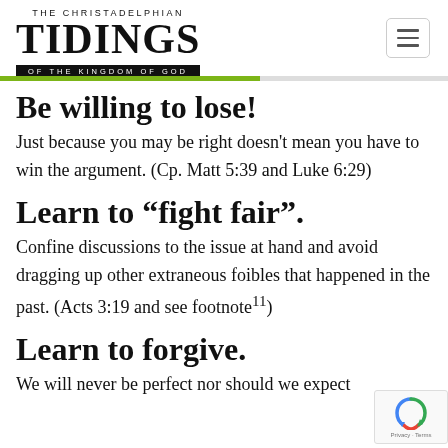THE CHRISTADELPHIAN TIDINGS OF THE KINGDOM OF GOD
Be willing to lose!
Just because you may be right doesn't mean you have to win the argument. (Cp. Matt 5:39 and Luke 6:29)
Learn to “fight fair”.
Confine discussions to the issue at hand and avoid dragging up other extraneous foibles that happened in the past. (Acts 3:19 and see footnote¹¹)
Learn to forgive.
We will never be perfect nor should we expect